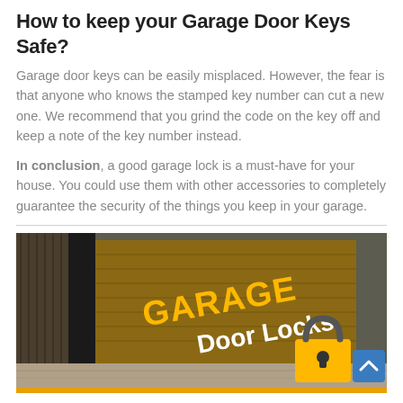How to keep your Garage Door Keys Safe?
Garage door keys can be easily misplaced. However, the fear is that anyone who knows the stamped key number can cut a new one. We recommend that you grind the code on the key off and keep a note of the key number instead.
In conclusion, a good garage lock is a must-have for your house. You could use them with other accessories to completely guarantee the security of the things you keep in your garage.
[Figure (photo): Photo of a garage with wooden siding and a brown roll-up garage door. Text overlay reads 'GARAGE Door Locks' in yellow and white letters. A yellow padlock graphic is visible in the lower portion of the image. A blue scroll-to-top button is in the bottom-right corner.]